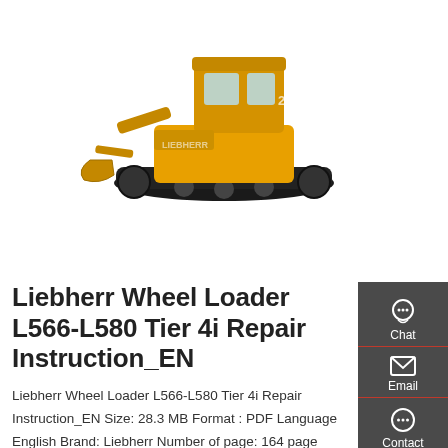[Figure (photo): Yellow Liebherr wheel loader / compact excavator machine on white background, photographed from the side-front angle, showing cab, tracks, and bucket.]
Liebherr Wheel Loader L566-L580 Tier 4i Repair Instruction_EN
Liebherr Wheel Loader L566-L580 Tier 4i Repair Instruction_EN Size: 28.3 MB Format : PDF Language English Brand: Liebherr Number of page: 164 page Type of machine: Liebherr Wheel Loader Type of document: Repair Instruction Model: Liebherr Wheel Loader Tier 4i – Stage IIIB L566-L580 Series Number/Type No: 12230405 Date Modified: 03-2014 …